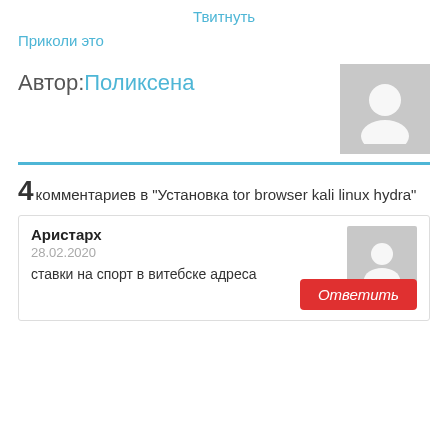Твитнуть
Приколи это
Автор:Поликсена
[Figure (illustration): Grey avatar placeholder with white silhouette of a person]
4 комментариев в "Установка tor browser kali linux hydra"
Аристарх
28.02.2020
ставки на спорт в витебске адреса
Ответить